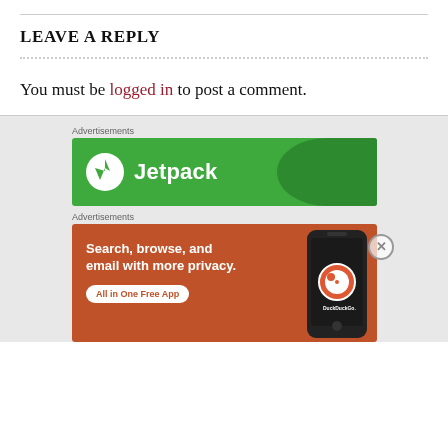LEAVE A REPLY
You must be logged in to post a comment.
Advertisements
[Figure (logo): Jetpack advertisement banner — green background with Jetpack logo and name]
Advertisements
[Figure (illustration): DuckDuckGo advertisement — orange background with text 'Search, browse, and email with more privacy. All in One Free App' and a phone showing DuckDuckGo logo]